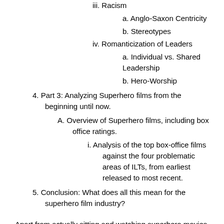iii. Racism
a. Anglo-Saxon Centricity
b. Stereotypes
iv. Romanticization of Leaders
a. Individual vs. Shared Leadership
b. Hero-Worship
4. Part 3: Analyzing Superhero films from the beginning until now.
A. Overview of Superhero films, including box office ratings.
i. Analysis of the top box-office films against the four problematic areas of ILTs, from earliest released to most recent.
5. Conclusion: What does all this mean for the superhero film industry?
Apart from actually sitting and watching superhero movies to become extremely comfortable and familiar with the industry and medium, I also have a number of sub-focuses that will require more background knowledge (i.e., I have to do at least minor research on the four